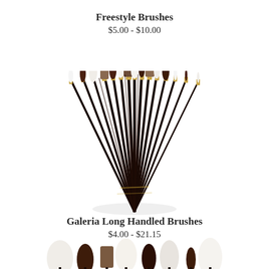Freestyle Brushes
$5.00 - $10.00
[Figure (photo): A fan of artist paint brushes with dark handles and gold ferrules, showing various brush tip shapes including round, flat, and filbert, spread out in a semicircular arrangement viewed from above.]
Galeria Long Handled Brushes
$4.00 - $21.15
[Figure (photo): A partial view of another fan of artist paint brushes similar to the first image, showing the tops of the brush heads with white and dark bristles, cut off at the bottom of the page.]